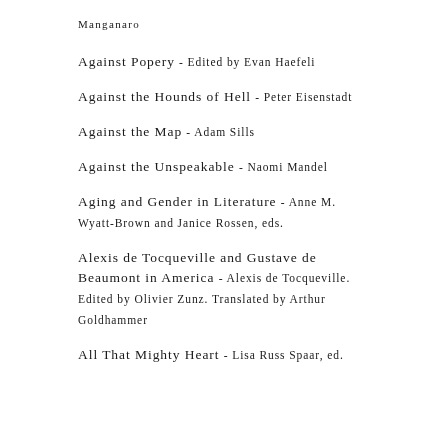Manganaro
Against Popery - Edited by Evan Haefeli
Against the Hounds of Hell - Peter Eisenstadt
Against the Map - Adam Sills
Against the Unspeakable - Naomi Mandel
Aging and Gender in Literature - Anne M. Wyatt-Brown and Janice Rossen, eds.
Alexis de Tocqueville and Gustave de Beaumont in America - Alexis de Tocqueville. Edited by Olivier Zunz. Translated by Arthur Goldhammer
All That Mighty Heart - Lisa Russ Spaar, ed.